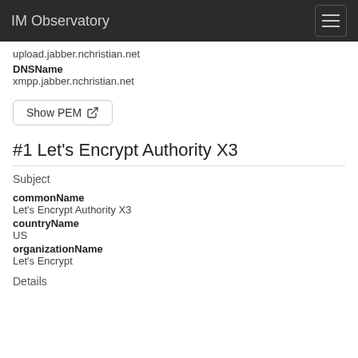IM Observatory
upload.jabber.nchristian.net
DNSName
xmpp.jabber.nchristian.net
Show PEM
#1 Let's Encrypt Authority X3
Subject
commonName
Let's Encrypt Authority X3
countryName
US
organizationName
Let's Encrypt
Details